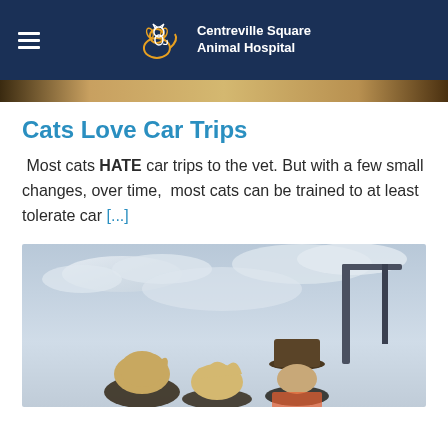Centreville Square Animal Hospital
[Figure (photo): Partial top strip of a photo (tan/brown tones, appears to be an animal)]
Cats Love Car Trips
Most cats HATE car trips to the vet. But with a few small changes, over time, most cats can be trained to at least tolerate car [...]
[Figure (photo): Photo of people outdoors, two individuals with hats, cloudy sky in background, partial view]